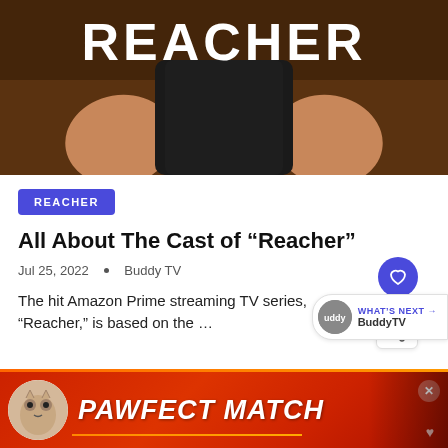[Figure (photo): Hero image showing the TV show Reacher title text over a dark background with a muscular man in a black t-shirt]
REACHER
All About The Cast of “Reacher”
Jul 25, 2022 • Buddy TV
The hit Amazon Prime streaming TV series, “Reacher,” is based on the …
[Figure (screenshot): WHAT'S NEXT arrow and BuddyTV label with logo circle]
[Figure (photo): PAWFECT MATCH advertisement banner with cat image and orange underline, close button X, and heart icon]